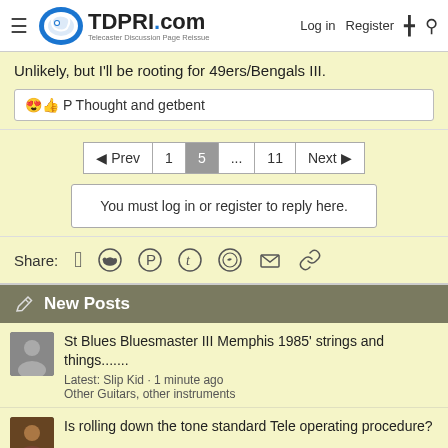TDPRI.com Telecaster Discussion Page Reissue | Log in | Register
Unlikely, but I'll be rooting for 49ers/Bengals III.
😍👍 P Thought and getbent
◄ Prev | 1 | 5 | ... | 11 | Next ►
You must log in or register to reply here.
Share:
New Posts
St Blues Bluesmaster III Memphis 1985' strings and things.......
Latest: Slip Kid · 1 minute ago
Other Guitars, other instruments
Is rolling down the tone standard Tele operating procedure?